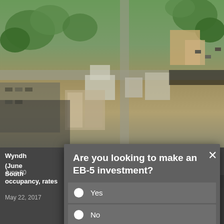[Figure (photo): Aerial view of an urban block with buildings, trees, roads, and parked cars, showing a construction or development site.]
Wyndh (June
June 30
South occupancy, rates
May 22, 2017
Are you looking to make an EB-5 investment?
Yes
No
Other
Send